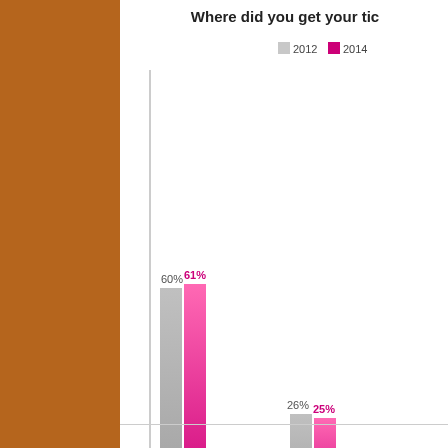[Figure (grouped-bar-chart): Where did you get your tic...]
•